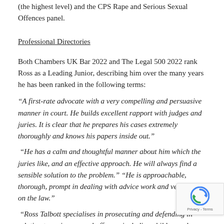(the highest level) and the CPS Rape and Serious Sexual Offences panel.
Professional Directories
Both Chambers UK Bar 2022 and The Legal 500 2022 rank Ross as a Leading Junior, describing him over the many years he has been ranked in the following terms:
“A first-rate advocate with a very compelling and persuasive manner in court. He builds excellent rapport with judges and juries. It is clear that he prepares his cases extremely thoroughly and knows his papers inside out.”
“He has a calm and thoughtful manner about him which the juries like, and an effective approach. He will always find a sensible solution to the problem.” “He is approachable, thorough, prompt in dealing with advice work and very strong on the law.”
“Ross Talbott specialises in prosecuting and defending in relation to serious sexual offences including child sexual